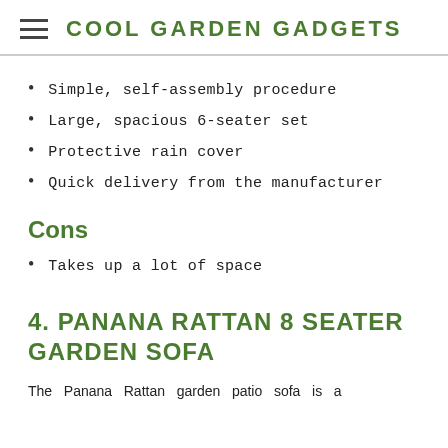COOL GARDEN GADGETS
Simple, self-assembly procedure
Large, spacious 6-seater set
Protective rain cover
Quick delivery from the manufacturer
Cons
Takes up a lot of space
4. PANANA RATTAN 8 SEATER GARDEN SOFA
The Panana Rattan garden patio sofa is a